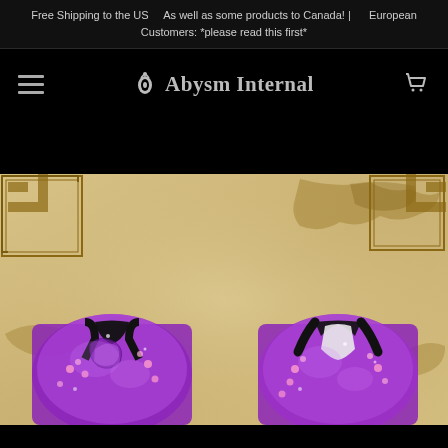Free Shipping to the US    As well as some products to Canada! |    European Customers: *please read this first*
Abysm Internal
[Figure (photo): Product photo showing front and back of a purple kimono-style jacket with dragon/floral embroidery on a beige background with decorative border]